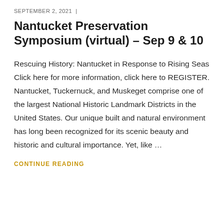SEPTEMBER 2, 2021  |
Nantucket Preservation Symposium (virtual) – Sep 9 & 10
Rescuing History: Nantucket in Response to Rising Seas Click here for more information, click here to REGISTER. Nantucket, Tuckernuck, and Muskeget comprise one of the largest National Historic Landmark Districts in the United States. Our unique built and natural environment has long been recognized for its scenic beauty and historic and cultural importance. Yet, like …
CONTINUE READING